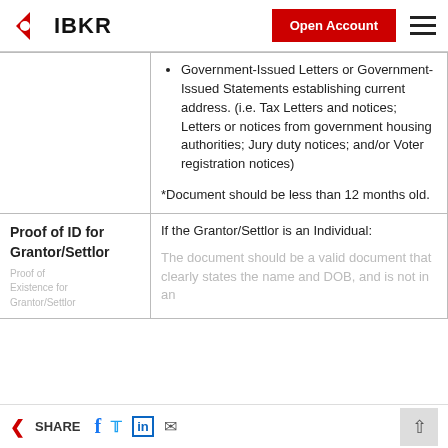IBKR | Open Account
Government-Issued Letters or Government-Issued Statements establishing current address. (i.e. Tax Letters and notices; Letters or notices from government housing authorities; Jury duty notices; and/or Voter registration notices)
*Document should be less than 12 months old.
Proof of ID for Grantor/Settlor
If the Grantor/Settlor is an Individual:
The document should be a valid document that clearly states the name and DOB, and is not in an
SHARE